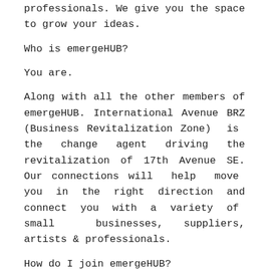professionals. We give you the space to grow your ideas.
Who is emergeHUB?
You are.
Along with all the other members of emergeHUB. International Avenue BRZ (Business Revitalization Zone) is the change agent driving the revitalization of 17th Avenue SE. Our connections will help move you in the right direction and connect you with a variety of small businesses, suppliers, artists & professionals.
How do I join emergeHUB?
Come by any time and chat between 9am- 6pm Monday to Friday.
emerge@internationalavenue.ca
403.454.EHUB (3482)